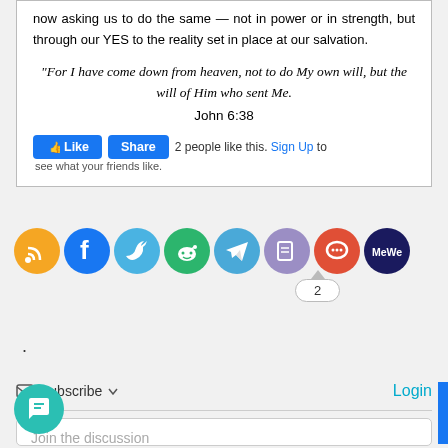now asking us to do the same — not in power or in strength, but through our YES to the reality set in place at our salvation.
“For I have come down from heaven, not to do My own will, but the will of Him who sent Me. John 6:38
[Figure (screenshot): Facebook Like and Share buttons with '2 people like this. Sign Up to see what your friends like.']
[Figure (infographic): Social sharing icons row: RSS (orange), Facebook (blue), Twitter (light blue), Reddit (green), Telegram (blue), Copy/News (purple), Chat (orange-red), MeWe (dark navy)]
2
.
Subscribe Login
Join the discussion